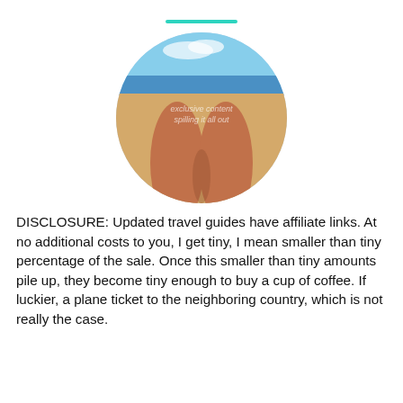[Figure (photo): A teal decorative double-line divider at the top center of the page]
[Figure (photo): A circular cropped photo showing tanned legs on a beach with blue sky and ocean in the background. Watermark text reads 'exclusive content spilling it all out']
DISCLOSURE: Updated travel guides have affiliate links. At no additional costs to you, I get tiny, I mean smaller than tiny percentage of the sale. Once this smaller than tiny amounts pile up, they become tiny enough to buy a cup of coffee. If luckier, a plane ticket to the neighboring country, which is not really the case.